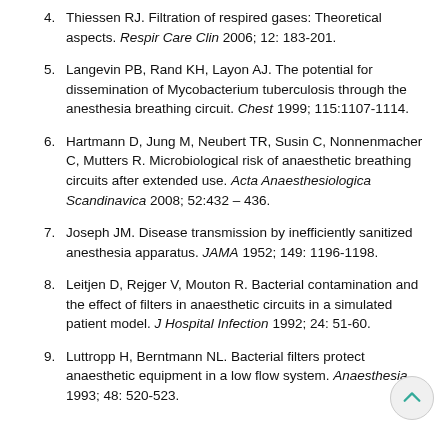4. Thiessen RJ. Filtration of respired gases: Theoretical aspects. Respir Care Clin 2006; 12: 183-201.
5. Langevin PB, Rand KH, Layon AJ. The potential for dissemination of Mycobacterium tuberculosis through the anesthesia breathing circuit. Chest 1999; 115:1107-1114.
6. Hartmann D, Jung M, Neubert TR, Susin C, Nonnenmacher C, Mutters R. Microbiological risk of anaesthetic breathing circuits after extended use. Acta Anaesthesiologica Scandinavica 2008; 52:432 – 436.
7. Joseph JM. Disease transmission by inefficiently sanitized anesthesia apparatus. JAMA 1952; 149: 1196-1198.
8. Leitjen D, Rejger V, Mouton R. Bacterial contamination and the effect of filters in anaesthetic circuits in a simulated patient model. J Hospital Infection 1992; 24: 51-60.
9. Luttropp H, Berntmann NL. Bacterial filters protect anaesthetic equipment in a low flow system. Anaesthesia 1993; 48: 520-523.